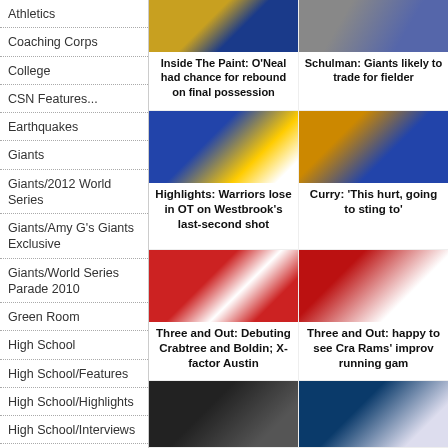Athletics
Coaching Corps
College
CSN Features...
Earthquakes
Giants
Giants/2012 World Series
Giants/Amy G's Giants Exclusive
Giants/World Series Parade 2010
Green Room
High School
High School/Features
High School/Highlights
High School/Interviews
High School/Play of the Week
Homepage Featured
[Figure (photo): Basketball player photo - top left]
[Figure (photo): Basketball photo - top right]
Inside The Paint: O'Neal had chance for rebound on final possession
Schulman: Giants likely to trade for fielder
[Figure (photo): Warriors team celebration photo]
[Figure (photo): Curry shooting photo]
Highlights: Warriors lose in OT on Westbrook's last-second shot
Curry: 'This hurt, going to sting to'
[Figure (photo): 49ers football players photo]
[Figure (photo): Football player #21 photo]
Three and Out: Debuting Crabtree and Boldin; X-factor Austin
Three and Out: happy to see Cra Rams' improv running gam
[Figure (photo): Coach photo]
[Figure (photo): Sharks hockey photo]